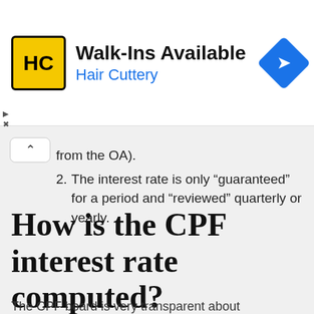[Figure (other): Walk-Ins Available Hair Cuttery advertisement banner with yellow HC logo and blue navigation diamond icon]
from the OA).
2. The interest rate is only “guaranteed” for a period and “reviewed” quarterly or yearly.
How is the CPF interest rate computed?
The CPF board is very transparent about